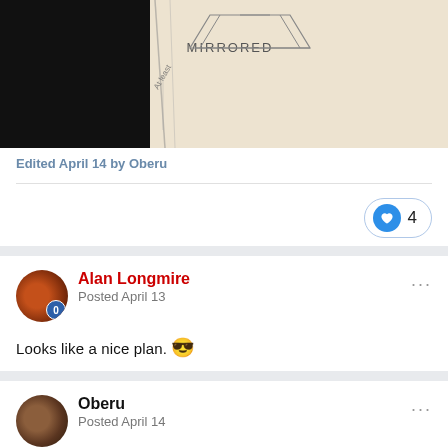[Figure (photo): Pencil sketch/drawing on paper showing geometric shapes with the word MIRRORED written, partially dark on left side]
Edited April 14 by Oberu
[Figure (other): Like button with heart icon and count of 4]
Alan Longmire
Posted April 13
Looks like a nice plan. 😎
Oberu
Posted April 14